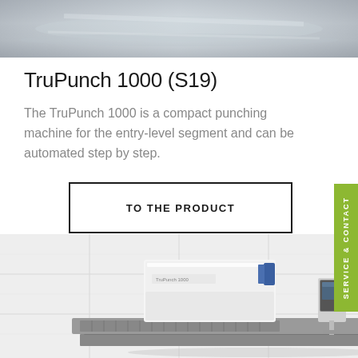[Figure (photo): Top portion of a machine, grayscale metallic surface, partially cropped]
TruPunch 1000 (S19)
The TruPunch 1000 is a compact punching machine for the entry-level segment and can be automated step by step.
[Figure (other): Button/link labeled TO THE PRODUCT with black border rectangle]
[Figure (photo): TruPunch 1000 machine in white color on a workbench against a white tiled wall background]